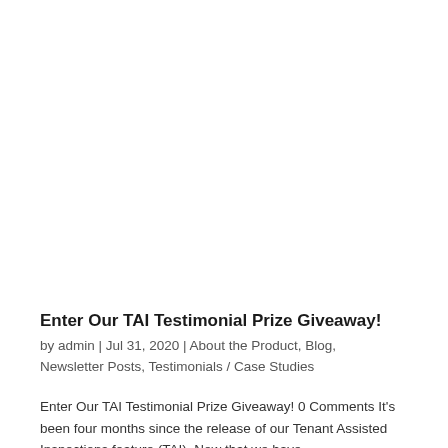Enter Our TAI Testimonial Prize Giveaway!
by admin | Jul 31, 2020 | About the Product, Blog, Newsletter Posts, Testimonials / Case Studies
Enter Our TAI Testimonial Prize Giveaway! 0 Comments It's been four months since the release of our Tenant Assisted Inspections feature (TAI). Now that we have